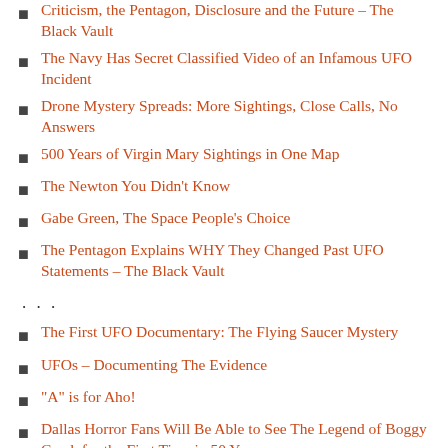Criticism, the Pentagon, Disclosure and the Future – The Black Vault
The Navy Has Secret Classified Video of an Infamous UFO Incident
Drone Mystery Spreads: More Sightings, Close Calls, No Answers
500 Years of Virgin Mary Sightings in One Map
The Newton You Didn't Know
Gabe Green, The Space People's Choice
The Pentagon Explains WHY They Changed Past UFO Statements – The Black Vault
...
The First UFO Documentary: The Flying Saucer Mystery
UFOs – Documenting The Evidence
“A” is for Aho!
Dallas Horror Fans Will Be Able to See The Legend of Boggy Creek for the First Time in 50 Years